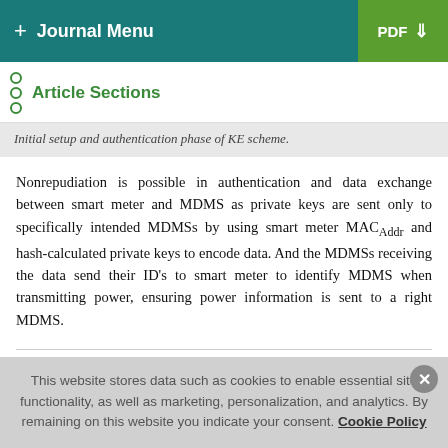+ Journal Menu | PDF
Article Sections
Initial setup and authentication phase of KE scheme.
Nonrepudiation is possible in authentication and data exchange between smart meter and MDMS as private keys are sent only to specifically intended MDMSs by using smart meter MAC_Addr and hash-calculated private keys to encode data. And the MDMSs receiving the data send their ID’s to smart meter to identify MDMS when transmitting power, ensuring power information is sent to a right MDMS.
This website stores data such as cookies to enable essential site functionality, as well as marketing, personalization, and analytics. By remaining on this website you indicate your consent. Cookie Policy